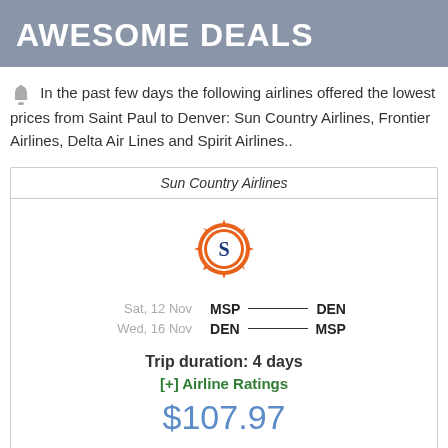AWESOME DEALS
In the past few days the following airlines offered the lowest prices from Saint Paul to Denver: Sun Country Airlines, Frontier Airlines, Delta Air Lines and Spirit Airlines..
| Airline | Route | Price |
| --- | --- | --- |
| Sun Country Airlines | MSP → DEN (Sat, 12 Nov) / DEN → MSP (Wed, 16 Nov) | $107.97 |
| Trip duration | 4 days |  |
| [+] Airline Ratings |  |  |